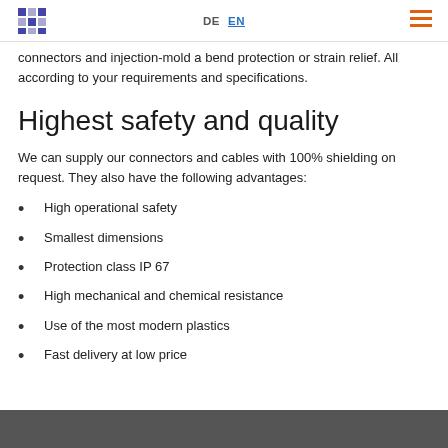DE  EN  [menu]
connectors and injection-mold a bend protection or strain relief. All according to your requirements and specifications.
Highest safety and quality
We can supply our connectors and cables with 100% shielding on request. They also have the following advantages:
High operational safety
Smallest dimensions
Protection class IP 67
High mechanical and chemical resistance
Use of the most modern plastics
Fast delivery at low price